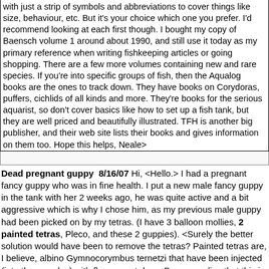with just a strip of symbols and abbreviations to cover things like size, behaviour, etc. But it's your choice which one you prefer. I'd recommend looking at each first though. I bought my copy of Baensch volume 1 around about 1990, and still use it today as my primary reference when writing fishkeeping articles or going shopping. There are a few more volumes containing new and rare species. If you're into specific groups of fish, then the Aqualog books are the ones to track down. They have books on Corydoras, puffers, cichlids of all kinds and more. They're books for the serious aquarist, so don't cover basics like how to set up a fish tank, but they are well priced and beautifully illustrated. TFH is another big publisher, and their web site lists their books and gives information on them too. Hope this helps, Neale>
Dead pregnant guppy  8/16/07 Hi, <Hello.> I had a pregnant fancy guppy who was in fine health. I put a new male fancy guppy in the tank with her 2 weeks ago, he was quite active and a bit aggressive which is why I chose him, as my previous male guppy had been picked on by my tetras. (I have 3 balloon mollies, 2 painted tetras, Pleco, and these 2 guppies). <Surely the better solution would have been to remove the tetras? Painted tetras are, I believe, albino Gymnocorymbus ternetzi that have been injected (into the muscles) with fluorescent dyes. Do you realise that this is done without anaesthesia and large numbers of them die in the process? It also weakens their immune system. It's possibly one of the nastiest and more venal aspects of the fishkeeping hobby, and if I could, I'd run up to the guys who do it and inject their muscles with massive.